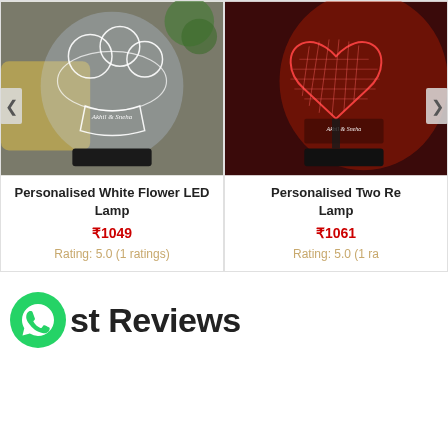[Figure (photo): Personalised White Flower LED Lamp - acrylic lamp with white flower design and names Akhil & Sneha, illuminated white]
Personalised White Flower LED Lamp
₹1049
Rating: 5.0 (1 ratings)
[Figure (photo): Personalised Two Red Heart LED Lamp - acrylic lamp with red heart shape illuminated, names Akhil & Sneha]
Personalised Two Red Lamp
₹1061
Rating: 5.0 (1 ratings)
st Reviews